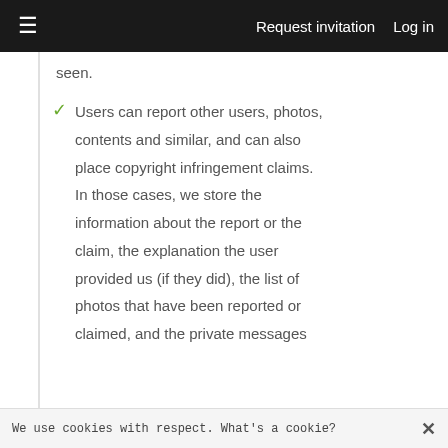≡  Request invitation  Log in
seen.
Users can report other users, photos, contents and similar, and can also place copyright infringement claims. In those cases, we store the information about the report or the claim, the explanation the user provided us (if they did), the list of photos that have been reported or claimed, and the private messages
We use cookies with respect. What's a cookie?  ✕